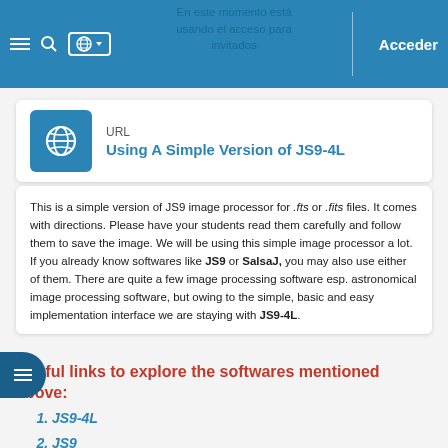En este momento está usando el acceso para invitados   Acceder
Using A Simple Version of JS9-4L
This is a simple version of JS9 image processor for .fts or .fits files.  It comes with directions. Please have your students read them carefully and follow them to save the image.  We will be using this simple image processor a lot. If you already know softwares like JS9 or SalsaJ, you may also use either of them. There are quite a few image processing software esp. astronomical image processing software, but owing to the simple, basic and easy implementation interface we are staying with JS9-4L.
Useful links to explore the softwares mentioned above:
JS9-4L
JS9
SalsaJ